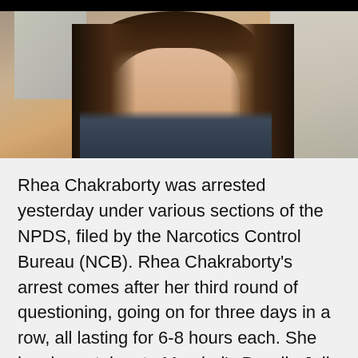[Figure (photo): Photo of Rhea Chakraborty, a young woman with long brown wavy hair, photographed outdoors with a building in the background.]
Rhea Chakraborty was arrested yesterday under various sections of the NPDS, filed by the Narcotics Control Bureau (NCB). Rhea Chakraborty's arrest comes after her third round of questioning, going on for three days in a row, all lasting for 6-8 hours each. She has been taken to Mumbai's Byculla Jail this morning after her bail plea was rejected last night. She will have to be in jail for 14 days and she is expected to request a sessions court for bail today. Rhea spent last night at the Narcotics Control Bureau office last night. Th...